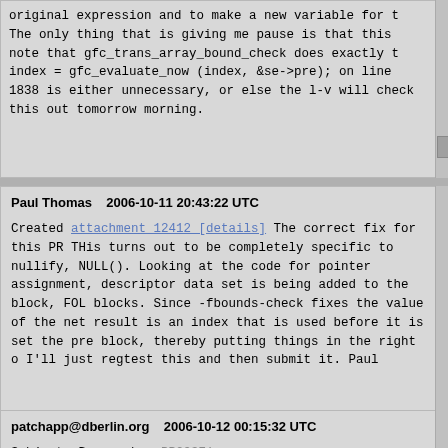original expression and to make a new variable for t

The only thing that is giving me pause is that this note that gfc_trans_array_bound_check does exactly t
  index = gfc_evaluate_now (index, &se->pre);
on line 1838  is either unnecessary, or else the l-v will check this out tomorrow morning.
Paul Thomas    2006-10-11 20:43:22 UTC
Created attachment 12412 [details]
The correct fix for this PR

THis turns out to be completely specific to nullify, NULL().  Looking at the code for pointer assignment, descriptor data set is being added to the block, FOL blocks.  Since -fbounds-check fixes the value of the net result is an index that is used before it is set the pre block, thereby putting things in the right o

I'll just regtest this and then submit it.

Paul
patchapp@dberlin.org    2006-10-12 00:15:32 UTC
Subject: Bug number PR29371